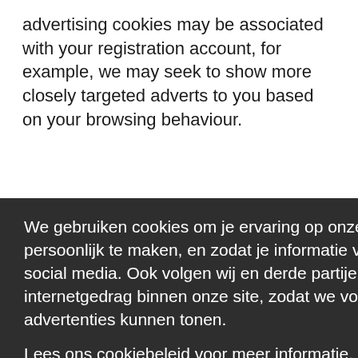advertising cookies may be associated with your registration account, for example, we may seek to show more closely targeted adverts to you based on your browsing behaviour.
[Figure (screenshot): Cookie consent overlay (dark background) with Dutch text: 'We gebruiken cookies om je ervaring op onze site te verbeteren en persoonlijk te maken, en zodat je informatie van deze site kunt delen via social media. Ook volgen wij en derde partijen met de cookies jouw internetgedrag binnen onze site, zodat we voor jou relevante inhoud en advertenties kunnen tonen.' with a link 'Lees ons cookiebeleid voor meer informatie.' and a pink/red 'Prima!' button.]
ou (for
ned or
at
n
to
gies.
ot or
t you
you